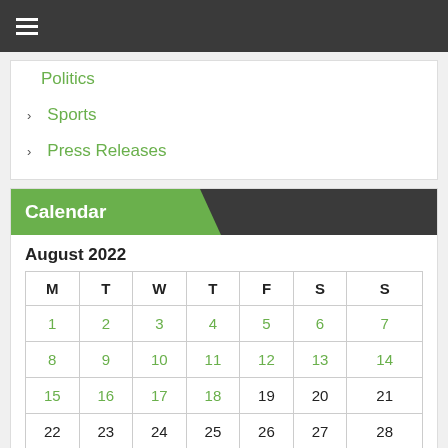Politics
Sports
Press Releases
Calendar
August 2022
| M | T | W | T | F | S | S |
| --- | --- | --- | --- | --- | --- | --- |
| 1 | 2 | 3 | 4 | 5 | 6 | 7 |
| 8 | 9 | 10 | 11 | 12 | 13 | 14 |
| 15 | 16 | 17 | 18 | 19 | 20 | 21 |
| 22 | 23 | 24 | 25 | 26 | 27 | 28 |
| 29 | 30 | 31 |  |  |  | ↑ |